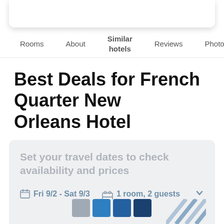[Figure (screenshot): Blue search bar with white magnifying glass icon at top]
Rooms  About  Similar hotels  Reviews  Photos  Lo
Best Deals for French Quarter New Orleans Hotel
Set your travel dates to check availability and prices
Fri 9/2 - Sat 9/3   1 room, 2 guests